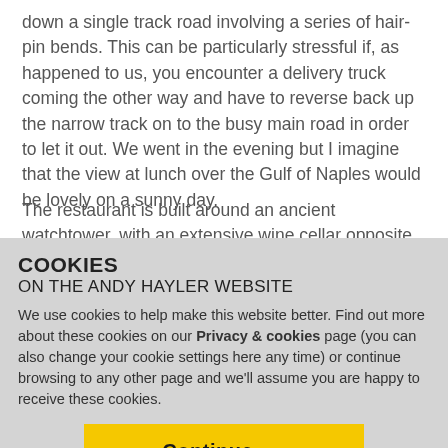down a single track road involving a series of hair-pin bends. This can be particularly stressful if, as happened to us, you encounter a delivery truck coming the other way and have to reverse back up the narrow track on to the busy main road in order to let it out. We went in the evening but I imagine that the view at lunch over the Gulf of Naples would be lovely on a sunny day.
The restaurant is built around an ancient watchtower, with an extensive wine cellar opposite the main dining room, and outside seating. The dining room is long and thin, with
COOKIES
ON THE ANDY HAYLER WEBSITE
We use cookies to help make this website better. Find out more about these cookies on our Privacy & cookies page (you can also change your cookie settings here any time) or continue browsing to any other page and we'll assume you are happy to receive these cookies.
Continue →